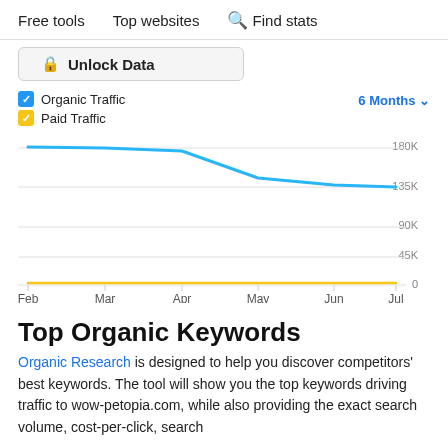Free tools   Top websites   Find stats
Unlock Data
[Figure (line-chart): Organic Traffic / Paid Traffic - 6 Months]
Top Organic Keywords
Organic Research is designed to help you discover competitors' best keywords. The tool will show you the top keywords driving traffic to wow-petopia.com, while also providing the exact search volume, cost-per-click, search